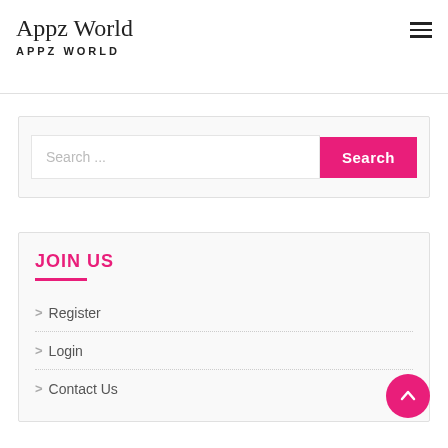Appz World
APPZ WORLD
[Figure (other): Hamburger menu icon (three horizontal lines) in top right corner]
[Figure (other): Search bar with placeholder 'Search ...' and a pink 'Search' button]
JOIN US
> Register
> Login
> Contact Us
[Figure (other): Pink circular back-to-top button with upward chevron arrow]